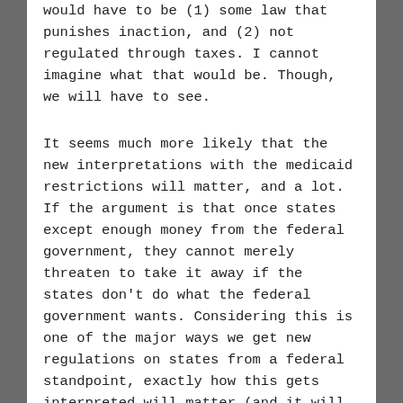would have to be (1) some law that punishes inaction, and (2) not regulated through taxes. I cannot imagine what that would be. Though, we will have to see.
It seems much more likely that the new interpretations with the medicaid restrictions will matter, and a lot. If the argument is that once states except enough money from the federal government, they cannot merely threaten to take it away if the states don't do what the federal government wants. Considering this is one of the major ways we get new regulations on states from a federal standpoint, exactly how this gets interpreted will matter (and it will probably matter that this was the only part of ACA ruling that had large appeal, with 7 justices basically